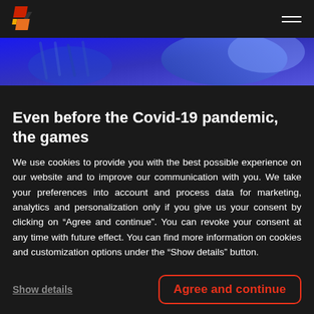[Logo] [Hamburger menu]
[Figure (photo): Blue abstract banner image, appears to show hands or abstract shapes in blue/purple tones]
Even before the Covid-19 pandemic, the games
We use cookies to provide you with the best possible experience on our website and to improve our communication with you. We take your preferences into account and process data for marketing, analytics and personalization only if you give us your consent by clicking on “Agree and continue”. You can revoke your consent at any time with future effect. You can find more information on cookies and customization options under the “Show details” button.
Show details
Agree and continue